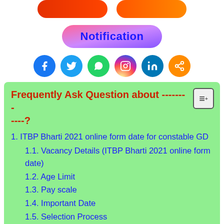[Figure (other): Two decorative rounded rectangle buttons in red/orange gradient at top]
[Figure (other): Notification button with pink-purple gradient]
[Figure (other): Row of social media icons: Facebook, Twitter, WhatsApp, Instagram, LinkedIn, Share]
Frequently Ask Question about ----------?
1. ITBP Bharti 2021 online form date for constable GD
1.1. Vacancy Details (ITBP Bharti 2021 online form date)
1.2. Age Limit
1.3. Pay scale
1.4. Important Date
1.5. Selection Process